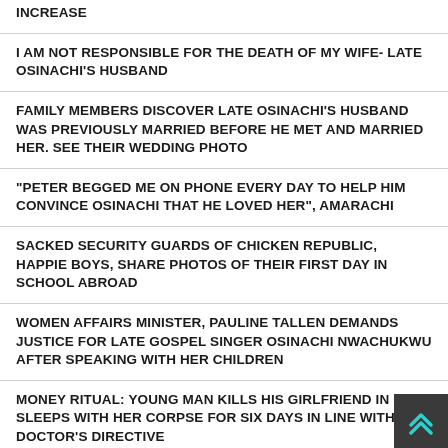Increase
I AM NOT RESPONSIBLE FOR THE DEATH OF MY WIFE- LATE OSINACHI'S HUSBAND
FAMILY MEMBERS DISCOVER LATE OSINACHI'S HUSBAND WAS PREVIOUSLY MARRIED BEFORE HE MET AND MARRIED HER. SEE THEIR WEDDING PHOTO
“PETER BEGGED ME ON PHONE EVERY DAY TO HELP HIM CONVINCE OSINACHI THAT HE LOVED HER”, AMARACHI
SACKED SECURITY GUARDS OF CHICKEN REPUBLIC, HAPPIE BOYS, SHARE PHOTOS OF THEIR FIRST DAY IN SCHOOL ABROAD
WOMEN AFFAIRS MINISTER, PAULINE TALLEN DEMANDS JUSTICE FOR LATE GOSPEL SINGER OSINACHI NWACHUKWU AFTER SPEAKING WITH HER CHILDREN
MONEY RITUAL: YOUNG MAN KILLS HIS GIRLFRIEND IN LA... SLEEPS WITH HER CORPSE FOR SIX DAYS IN LINE WITH NA... DOCTOR’S DIRECTIVE